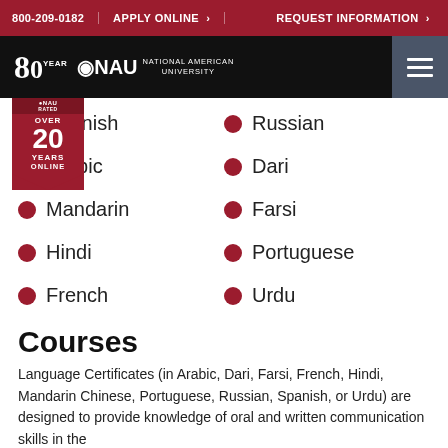800-209-0182   APPLY ONLINE >   REQUEST INFORMATION >
[Figure (logo): NAU 80 Years National American University logo with navigation bar and hamburger menu]
Spanish
Russian
Arabic
Dari
Mandarin
Farsi
Hindi
Portuguese
French
Urdu
Courses
Language Certificates (in Arabic, Dari, Farsi, French, Hindi, Mandarin Chinese, Portuguese, Russian, Spanish, or Urdu) are designed to provide knowledge of oral and written communication skills in the